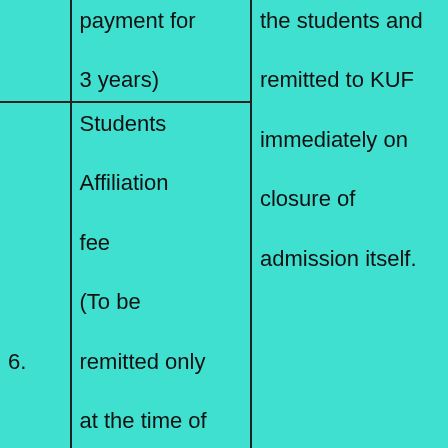| Sr. | Fee Description | Amount | Description |
| --- | --- | --- | --- |
|  | payment for 3 years) | the students and remitted to KUF immediately on closure of admission itself. |  |
| 6. | Students Affiliation fee (To be remitted only at the time of admission to the Programme). | the students and remitted to KUF immediately on closure of admission itself. |  |
| 7. | Students Care Fund (as one-time payment for 3 years ) | 300/- | 300/- |